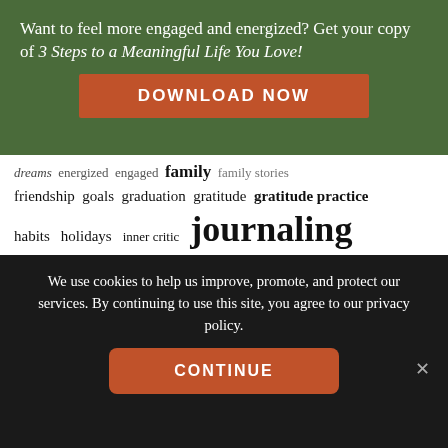Want to feel more engaged and energized? Get your copy of 3 Steps to a Meaningful Life You Love!
DOWNLOAD NOW
[Figure (infographic): Tag cloud / word cloud showing journaling and life topics: dreams energized engaged family family stories friendship goals graduation gratitude gratitude practice habits holidays inner critic journaling journaling prompt kindness learning letters love meaning memories milestones money personal mission statement pivot points reflection revisioning stories support thank you note]
We use cookies to help us improve, promote, and protect our services. By continuing to use this site, you agree to our privacy policy.
CONTINUE